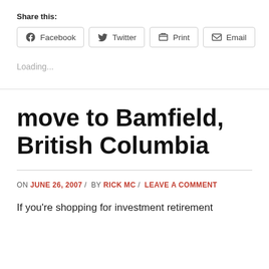Share this:
[Figure (screenshot): Social sharing buttons: Facebook, Twitter, Print, Email]
Loading...
move to Bamfield, British Columbia
ON JUNE 26, 2007 / BY RICK MC / LEAVE A COMMENT
If you're shopping for investment retirement